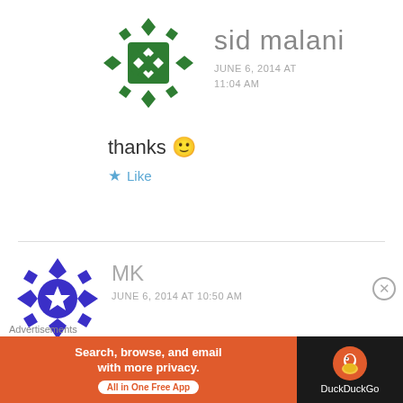[Figure (illustration): Green geometric/quilted avatar icon for user sid malani]
sid malani
JUNE 6, 2014 AT 11:04 AM
thanks 🙂
★ Like
[Figure (illustration): Blue geometric avatar icon for user MK]
MK
JUNE 6, 2014 AT 10:50 AM
Upcoming Deal – 6th June.
Advertisements
[Figure (screenshot): DuckDuckGo advertisement banner: Search, browse, and email with more privacy. All in One Free App]